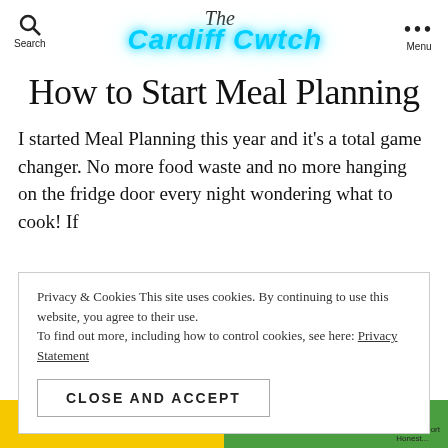The Cardiff Cwtch — Search / Menu
How to Start Meal Planning
I started Meal Planning this year and it's a total game changer. No more food waste and no more hanging on the fridge door every night wondering what to cook! If
Privacy & Cookies This site uses cookies. By continuing to use this website, you agree to their use.
To find out more, including how to control cookies, see here: Privacy Statement
CLOSE AND ACCEPT